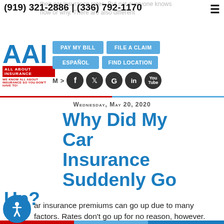(919) 321-2886 | (336) 792-1170
[Figure (logo): All About Insurance (AAI) logo with blue letters and red banner]
[Figure (screenshot): Navigation menu buttons: PAY MY BILL, FILE A CLAIM, ESPAÑOL, FIND LOCATION, and social media icons for Facebook, Twitter, Google, LinkedIn, YouTube]
Wednesday, May 20, 2020
Why Did My Car Insurance Suddenly Go Up?
Car insurance premiums can go up due to many factors. Rates don't go up for no reason, however. There is always a reason for